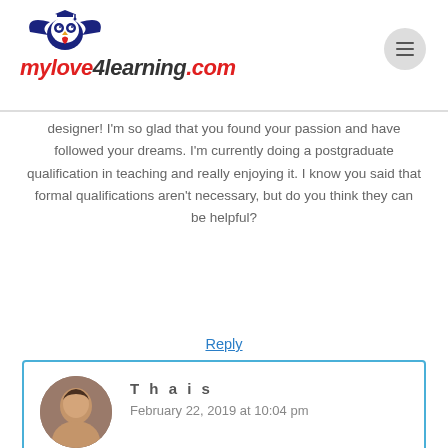mylove4learning.com
designer! I'm so glad that you found your passion and have followed your dreams. I'm currently doing a postgraduate qualification in teaching and really enjoying it. I know you said that formal qualifications aren't necessary, but do you think they can be helpful?
Reply
Thais
February 22, 2019 at 10:04 pm